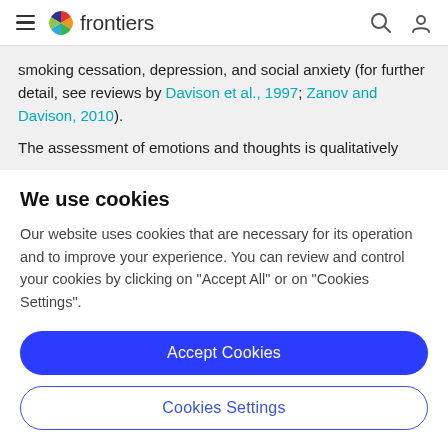frontiers
smoking cessation, depression, and social anxiety (for further detail, see reviews by Davison et al., 1997; Zanov and Davison, 2010).
The assessment of emotions and thoughts is qualitatively
We use cookies
Our website uses cookies that are necessary for its operation and to improve your experience. You can review and control your cookies by clicking on "Accept All" or on "Cookies Settings".
Accept Cookies
Cookies Settings